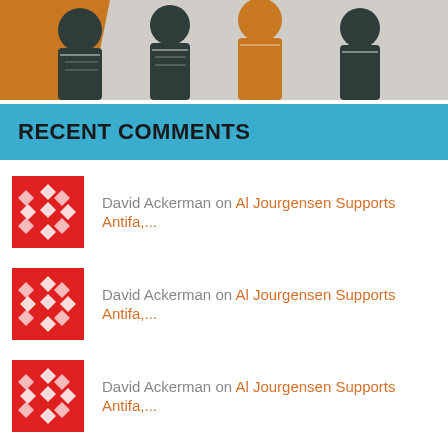[Figure (illustration): Stylized illustration of people at a protest or gathering, with orange, dark teal/grey, and white colors]
RECENT COMMENTS
David Ackerman on Al Jourgensen Supports Antifa,...
David Ackerman on Al Jourgensen Supports Antifa,...
David Ackerman on Al Jourgensen Supports Antifa,...
David Ackerman on Al Jourgensen Supports Antifa,...
Edwin Oslan on Al Jourgensen Supports Antifa,...